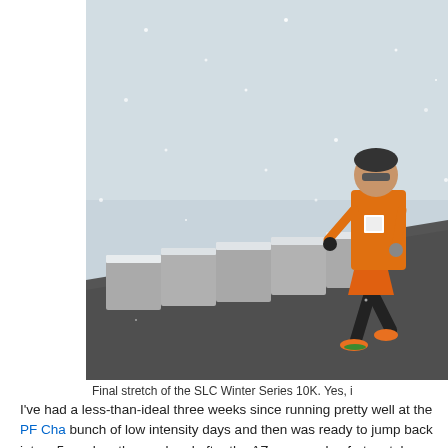[Figure (photo): A male runner in an orange singlet and orange shorts, wearing a beanie and sunglasses, running on a wet road in snowy/blizzard conditions. There are concrete snow barriers alongside the road covered in snow. The runner wears bright orange shoes.]
Final stretch of the SLC Winter Series 10K. Yes, i
I've had a less-than-ideal three weeks since running pretty well at the PF Cha bunch of low intensity days and then was ready to jump back into a 5 week m the weekend after the AZ race, and unfortunately developed a mild quad st